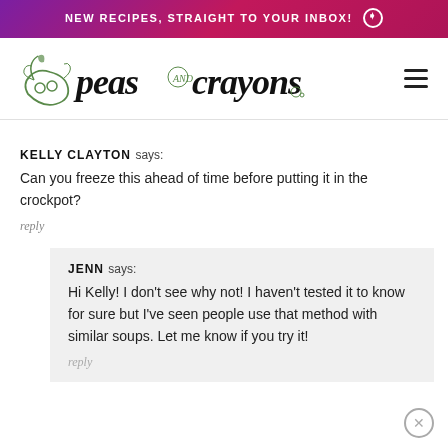NEW RECIPES, STRAIGHT TO YOUR INBOX! →
[Figure (logo): Peas and Crayons website logo with illustrated pea pod and script/print text]
KELLY CLAYTON says:
Can you freeze this ahead of time before putting it in the crockpot?
reply
JENN says:
Hi Kelly! I don't see why not! I haven't tested it to know for sure but I've seen people use that method with similar soups. Let me know if you try it!
reply